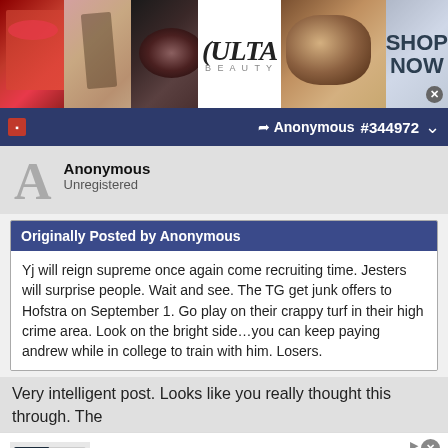[Figure (screenshot): Ulta Beauty advertisement banner with makeup imagery and SHOP NOW call to action]
Anonymous  #344972
Anonymous
Unregistered
Originally Posted by Anonymous
Yj will reign supreme once again come recruiting time. Jesters will surprise people. Wait and see. The TG get junk offers to Hofstra on September 1. Go play on their crappy turf in their high crime area. Look on the bright side…you can keep paying andrew while in college to train with him. Losers.
Very intelligent post. Looks like you really thought this through. The
[Figure (screenshot): Official NFL Gear advertisement - Get Your Favorite Team's Gear Here - www.nflshop.com]